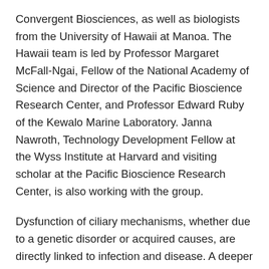Convergent Biosciences, as well as biologists from the University of Hawaii at Manoa. The Hawaii team is led by Professor Margaret McFall-Ngai, Fellow of the National Academy of Science and Director of the Pacific Bioscience Research Center, and Professor Edward Ruby of the Kewalo Marine Laboratory. Janna Nawroth, Technology Development Fellow at the Wyss Institute at Harvard and visiting scholar at the Pacific Bioscience Research Center, is also working with the group.
Dysfunction of ciliary mechanisms, whether due to a genetic disorder or acquired causes, are directly linked to infection and disease. A deeper understanding of cilia mechanics will shed light on this connection, one day impacting the development of diagnostic tools and pharmaceuticals.
“We are interested in motile cilia,” Kanso said. “They are really